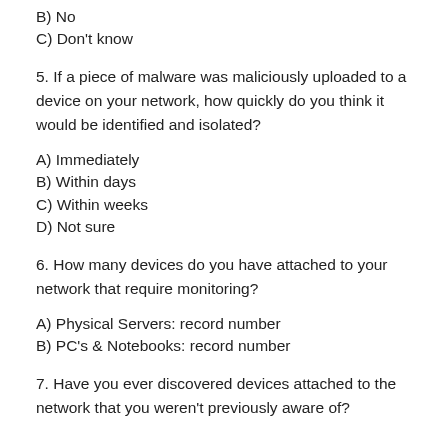B) No
C) Don't know
5. If a piece of malware was maliciously uploaded to a device on your network, how quickly do you think it would be identified and isolated?
A) Immediately
B) Within days
C) Within weeks
D) Not sure
6. How many devices do you have attached to your network that require monitoring?
A) Physical Servers: record number
B) PC's & Notebooks: record number
7. Have you ever discovered devices attached to the network that you weren't previously aware of?